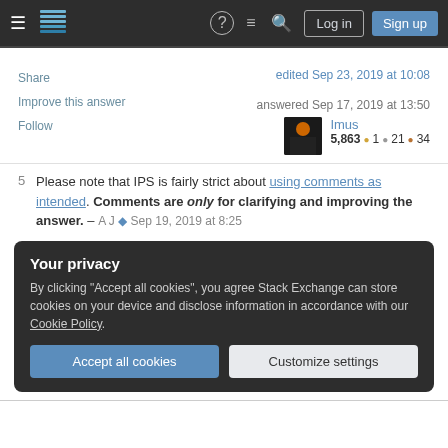Stack Exchange navigation bar with Log in and Sign up buttons
Share
Improve this answer
Follow
edited Sep 23, 2019 at 10:08
answered Sep 17, 2019 at 13:50
Imus
5,863 ●1 ●21 ●34
5  Please note that IPS is fairly strict about using comments as intended. Comments are only for clarifying and improving the answer. – A J ◆ Sep 19, 2019 at 8:25
Your privacy
By clicking "Accept all cookies", you agree Stack Exchange can store cookies on your device and disclose information in accordance with our Cookie Policy.
Accept all cookies   Customize settings